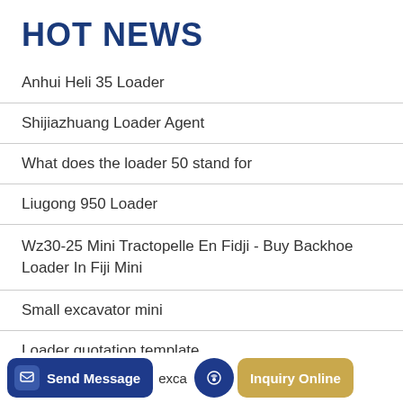HOT NEWS
Anhui Heli 35 Loader
Shijiazhuang Loader Agent
What does the loader 50 stand for
Liugong 950 Loader
Wz30-25 Mini Tractopelle En Fidji - Buy Backhoe Loader In Fiji Mini
Small excavator mini
Loader quotation template
Send Message   exca   Inquiry Online